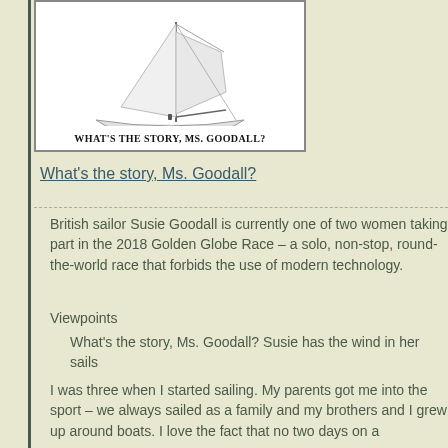[Figure (illustration): Book cover showing a sailboat with white sails on water, with the title text 'WHAT'S THE STORY, MS. GOODALL?' in bold serif font below the image]
What's the story, Ms. Goodall?
British sailor Susie Goodall is currently one of two women taking part in the 2018 Golden Globe Race – a solo, non-stop, round-the-world race that forbids the use of modern technology.
Viewpoints
What's the story, Ms. Goodall? Susie has the wind in her sails
I was three when I started sailing. My parents got me into the sport – we always sailed as a family and my brothers and I grew up around boats. I love the fact that no two days on a